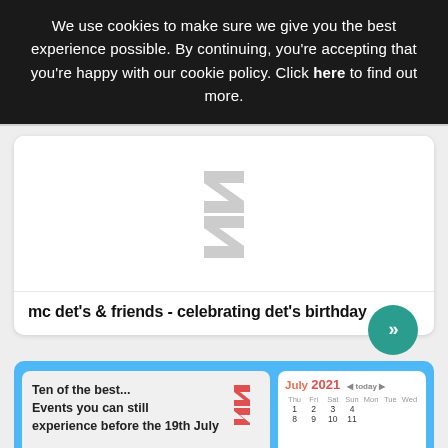We use cookies to make sure we give you the best experience possible. By continuing, you're accepting that you're happy with our cookie policy. Click here to find out more.
[Figure (screenshot): Event card with placeholder logo (stylized S/zigzag icon in grey) and title 'mc det's & friends - celebrating det's birthday' with a teal forward button]
[Figure (screenshot): Bottom section with blue banner containing 'Ten of the best... Events you can still experience before the 19th July' card on left, and a July 2021 calendar on the right, with colorful emoji icons along the bottom]